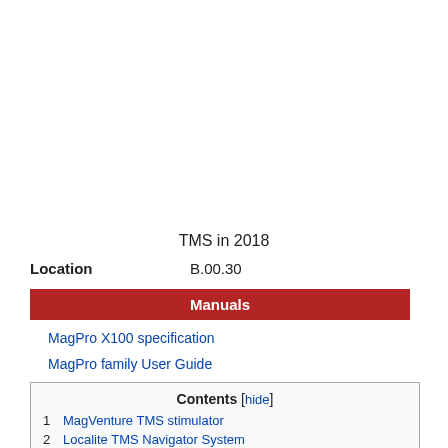TMS in 2018
Location   B.00.30
Manuals
MagPro X100 specification
MagPro family User Guide
| Contents [hide] |
| 1  MagVenture TMS stimulator |
| 2  Localite TMS Navigator System |
| 3  NeuroConn Transcranial Electric Current Stimulation |